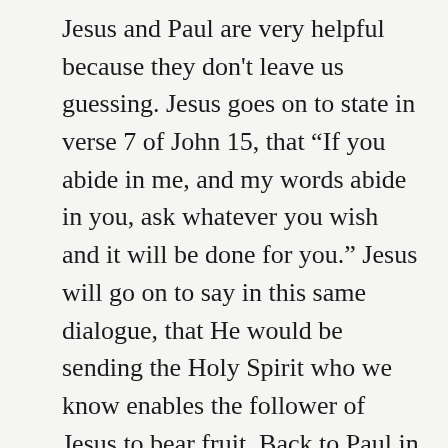Jesus and Paul are very helpful because they don't leave us guessing. Jesus goes on to state in verse 7 of John 15, that “If you abide in me, and my words abide in you, ask whatever you wish and it will be done for you.” Jesus will go on to say in this same dialogue, that He would be sending the Holy Spirit who we know enables the follower of Jesus to bear fruit. Back to Paul in Galatians 6, he says that in order for us to bear certain fruit we must plant certain fruit. Galatians 6:7-10 “Do not be deceived: God is not mocked, for whatever one sows, that will he also reap. For the one who sows to his own flesh will from the flesh reap corruption, but the one who sows to the Spirit will from the Spirit reap eternal life. And let us not grow weary of doing